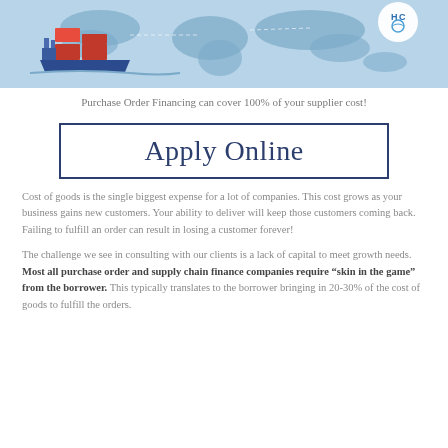[Figure (illustration): Illustration of a cargo ship on a world map with blue tones and a company logo (HC) in the top right corner]
Purchase Order Financing can cover 100% of your supplier cost!
Apply Online
Cost of goods is the single biggest expense for a lot of companies. This cost grows as your business gains new customers. Your ability to deliver will keep those customers coming back. Failing to fulfill an order can result in losing a customer forever!
The challenge we see in consulting with our clients is a lack of capital to meet growth needs. Most all purchase order and supply chain finance companies require “skin in the game” from the borrower. This typically translates to the borrower bringing in 20-30% of the cost of goods to fulfill the orders.